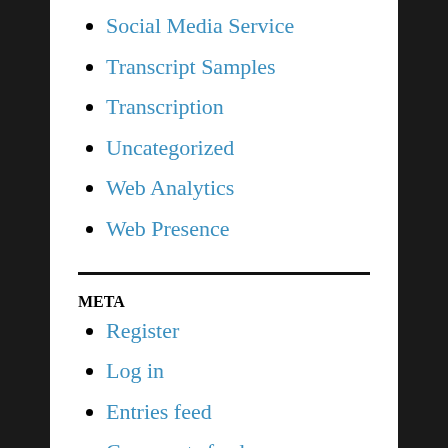Social Media Service
Transcript Samples
Transcription
Uncategorized
Web Analytics
Web Presence
META
Register
Log in
Entries feed
Comments feed
WordPress.org